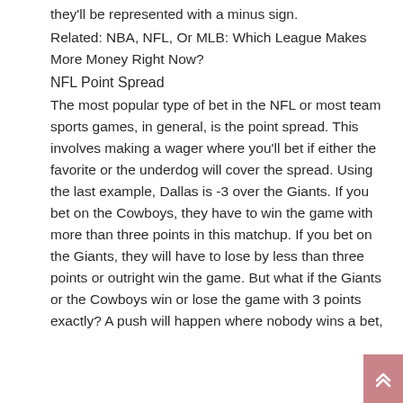they'll be represented with a minus sign.
Related: NBA, NFL, Or MLB: Which League Makes More Money Right Now?
NFL Point Spread
The most popular type of bet in the NFL or most team sports games, in general, is the point spread. This involves making a wager where you'll bet if either the favorite or the underdog will cover the spread. Using the last example, Dallas is -3 over the Giants. If you bet on the Cowboys, they have to win the game with more than three points in this matchup. If you bet on the Giants, they will have to lose by less than three points or outright win the game. But what if the Giants or the Cowboys win or lose the game with 3 points exactly? A push will happen where nobody wins a bet,